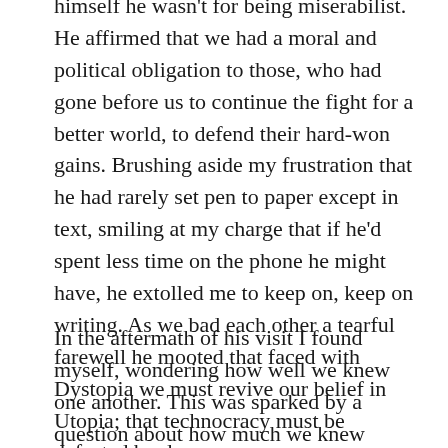himself he wasn't for being miserabilist. He affirmed that we had a moral and political obligation to those, who had gone before us to continue the fight for a better world, to defend their hard-won gains. Brushing aside my frustration that he had rarely set pen to paper except in text, smiling at my charge that if he'd spent less time on the phone he might have, he extolled me to keep on, keep on writing. As we bad each other a tearful farewell he mooted that faced with Dystopia we must revive our belief in Utopia; that technocracy must be defeated by democracy.
In the aftermath of his visit I found myself, wondering how well we knew one another. This was sparked by a question about how much we knew about each other's personal lives. The implication was that we steered